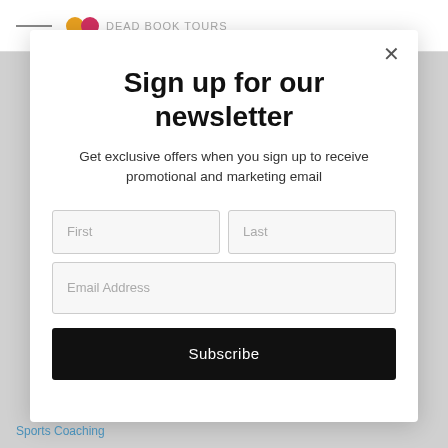DEAD BOOK TOURS (logo/header bar)
Sign up for our newsletter
Get exclusive offers when you sign up to receive promotional and marketing email
First | Last (form fields)
Email Address (form field)
Subscribe
Sports Coaching